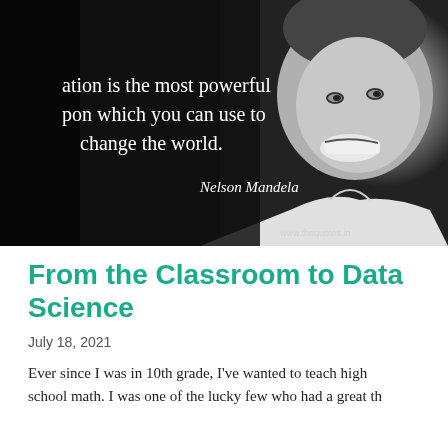[Figure (photo): Black and white photo of Nelson Mandela smiling, overlaid with white text quote: 'ation is the most powerful pon which you can use to change the world.' attributed to Nelson Mandela in italic. Watermark: www.thequotes.in]
From the Classroom to Data Science
July 18, 2021
Ever since I was in 10th grade, I've wanted to teach high school math. I was one of the lucky few who had a great th...